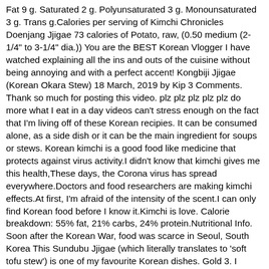Fat 9 g. Saturated 2 g. Polyunsaturated 3 g. Monounsaturated 3 g. Trans g.Calories per serving of Kimchi Chronicles Doenjang Jjigae 73 calories of Potato, raw, (0.50 medium (2-1/4" to 3-1/4" dia.)) You are the BEST Korean Vlogger I have watched explaining all the ins and outs of the cuisine without being annoying and with a perfect accent! Kongbiji Jjigae (Korean Okara Stew) 18 March, 2019 by Kip 3 Comments. Thank so much for posting this video. plz plz plz plz plz do more what I eat in a day videos can't stress enough on the fact that I'm living off of these Korean recipies. It can be consumed alone, as a side dish or it can be the main ingredient for soups or stews. Korean kimchi is a good food like medicine that protects against virus activity.I didn't know that kimchi gives me this health,These days, the Corona virus has spread everywhere.Doctors and food researchers are making kimchi effects.At first, I'm afraid of the intensity of the scent.I can only find Korean food before I know it.Kimchi is love. Calorie breakdown: 55% fat, 21% carbs, 24% protein.Nutritional Info. Soon after the Korean War, food was scarce in Seoul, South Korea This Sundubu Jjigae (which literally translates to 'soft tofu stew') is one of my favourite Korean dishes. Gold 3. I would love to see your KIMCHI Jjigae creation!.Also, leave me requests for future recipes for both traditional Korean cuisines and everyday meals with a Korean twist..Thanks for watching!.Helen.kimchi jjigae, kimchi stew, 김치찌개, kimchi chigae, maangchi kimchi stew, kimchi soup, Kimchi (Food), Jiigae (Type Of Dish), Korean food, Korean